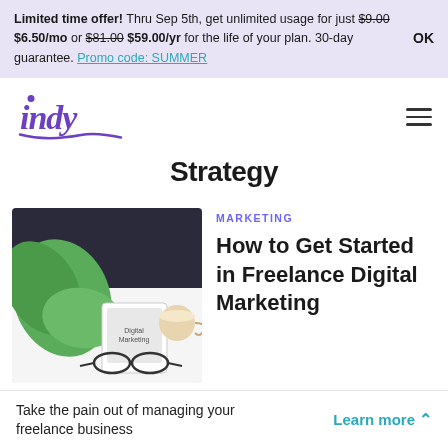Limited time offer! Thru Sep 5th, get unlimited usage for just $9.00 $6.50/mo or $81.00 $59.00/yr for the life of your plan. 30-day guarantee. Promo code: SUMMER
[Figure (logo): Indy logo in purple cursive script]
Strategy
[Figure (photo): Overhead desk photo with green plant leaf, glasses, tablet with marketing book, and coffee cup on white background]
MARKETING
How to Get Started in Freelance Digital Marketing
Take the pain out of managing your freelance business  Learn more